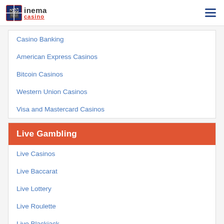inema casino
Casino Banking
American Express Casinos
Bitcoin Casinos
Western Union Casinos
Visa and Mastercard Casinos
Live Gambling
Live Casinos
Live Baccarat
Live Lottery
Live Roulette
Live Blackjack